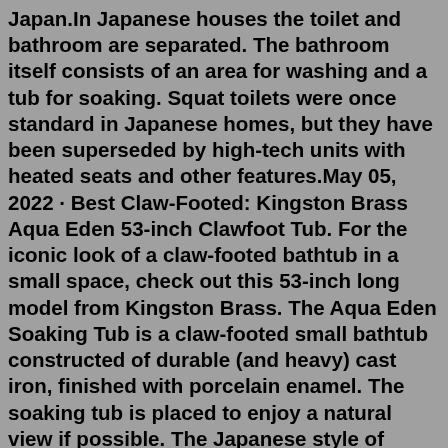Japan.In Japanese houses the toilet and bathroom are separated. The bathroom itself consists of an area for washing and a tub for soaking. Squat toilets were once standard in Japanese homes, but they have been superseded by high-tech units with heated seats and other features.May 05, 2022 · Best Claw-Footed: Kingston Brass Aqua Eden 53-inch Clawfoot Tub. For the iconic look of a claw-footed bathtub in a small space, check out this 53-inch long model from Kingston Brass. The Aqua Eden Soaking Tub is a claw-footed small bathtub constructed of durable (and heavy) cast iron, finished with porcelain enamel. The soaking tub is placed to enjoy a natural view if possible. The Japanese style of bathing begins with a thorough shower outside the tub using plenty of soap and hot water. The bather then slips into the crystal-clear, steaming hot water for a completely relaxing quiet soak. For design ideas we recommend reading The Japanese Bath by Bruce Smith.Create a spa-like atmosphere in your bathroom with the round Siglo